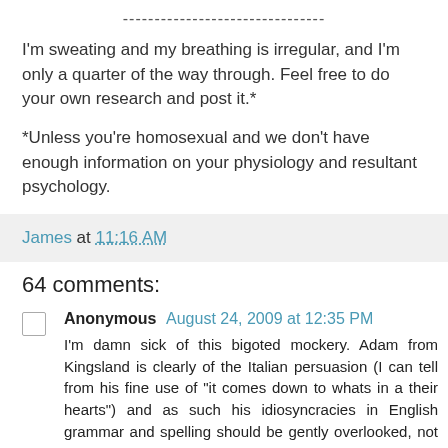--------------------------------
I'm sweating and my breathing is irregular, and I'm only a quarter of the way through. Feel free to do your own research and post it.*
*Unless you're homosexual and we don't have enough information on your physiology and resultant psychology.
James at 11:16 AM
64 comments:
Anonymous August 24, 2009 at 12:35 PM
I'm damn sick of this bigoted mockery. Adam from Kingsland is clearly of the Italian persuasion (I can tell from his fine use of "it comes down to whats in a their hearts") and as such his idiosyncracies in English grammar and spelling should be gently overlooked, not mocked on a